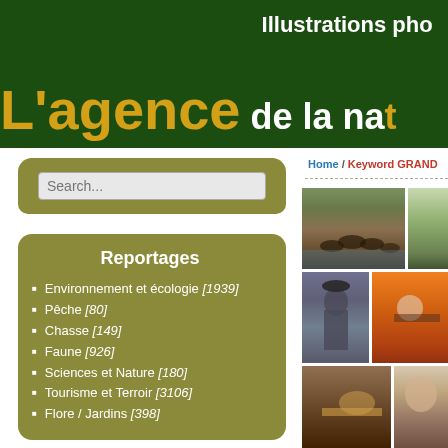Illustrations photo — L'agence de la nat...
Search...
Reportages
Environnement et écologie [1939]
Pêche [80]
Chasse [149]
Faune [926]
Sciences et Nature [180]
Tourisme et Terroir [3106]
Flore / Jardins [398]
Home / Keyword GRAND...
[Figure (photo): Grid of hunting/nature photographs: dogs crossing water, green field, hunter with gun, person in orange vest, ground scene, person]